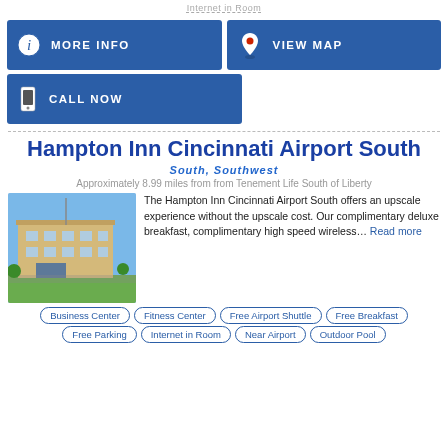Internet in Room
[Figure (screenshot): MORE INFO button with info icon]
[Figure (screenshot): VIEW MAP button with map pin icon]
[Figure (screenshot): CALL NOW button with phone icon]
Hampton Inn Cincinnati Airport South
SOUTH, SOUTHWEST
Approximately 8.99 miles from from Tenement Life South of Liberty
[Figure (photo): Photo of Hampton Inn Cincinnati Airport South hotel exterior]
The Hampton Inn Cincinnati Airport South offers an upscale experience without the upscale cost. Our complimentary deluxe breakfast, complimentary high speed wireless… Read more
Business Center
Fitness Center
Free Airport Shuttle
Free Breakfast
Free Parking
Internet in Room
Near Airport
Outdoor Pool